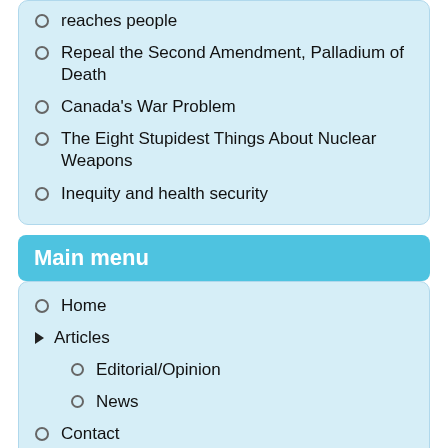reaches people
Repeal the Second Amendment, Palladium of Death
Canada's War Problem
The Eight Stupidest Things About Nuclear Weapons
Inequity and health security
Main menu
Home
Articles
Editorial/Opinion
News
Contact
Advertorial